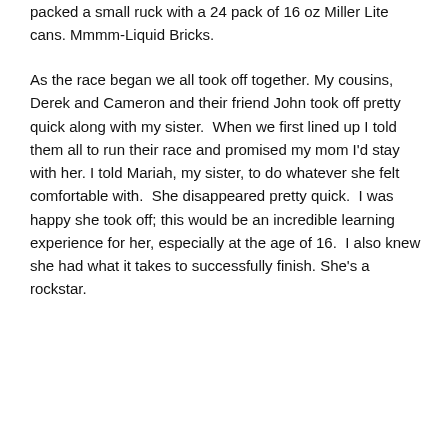packed a small ruck with a 24 pack of 16 oz Miller Lite cans. Mmmm-Liquid Bricks.
As the race began we all took off together. My cousins, Derek and Cameron and their friend John took off pretty quick along with my sister.  When we first lined up I told them all to run their race and promised my mom I'd stay with her. I told Mariah, my sister, to do whatever she felt comfortable with.  She disappeared pretty quick.  I was happy she took off; this would be an incredible learning experience for her, especially at the age of 16.  I also knew she had what it takes to successfully finish. She's a rockstar.